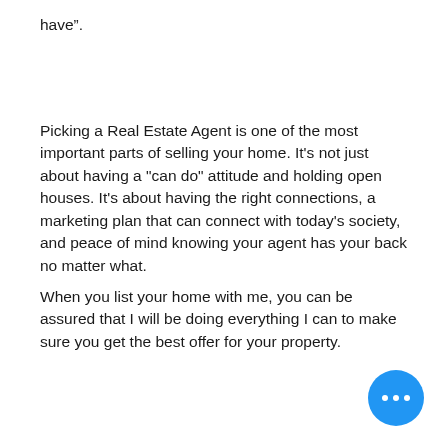have”.
Picking a Real Estate Agent is one of the most important parts of selling your home. It's not just about having a "can do" attitude and holding open houses. It's about having the right connections, a marketing plan that can connect with today's society, and peace of mind knowing your agent has your back no matter what.
When you list your home with me, you can be assured that I will be doing everything I can to make sure you get the best offer for your property.
[Figure (other): Blue circular chat button with three white dots (ellipsis) in the bottom-right corner]